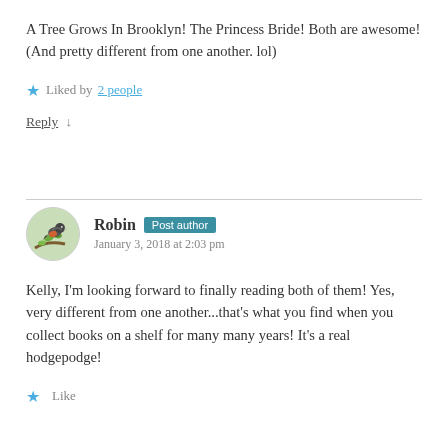A Tree Grows In Brooklyn! The Princess Bride! Both are awesome! (And pretty different from one another. lol)
★ Liked by 2 people
Reply ↓
Robin Post author January 3, 2018 at 2:03 pm
Kelly, I'm looking forward to finally reading both of them! Yes, very different from one another...that's what you find when you collect books on a shelf for many many years! It's a real hodgepodge!
★ Like